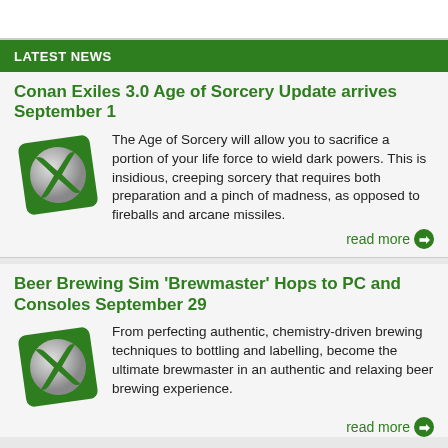LATEST NEWS
Conan Exiles 3.0 Age of Sorcery Update arrives September 1
[Figure (logo): Xbox logo on a green tilted square background]
The Age of Sorcery will allow you to sacrifice a portion of your life force to wield dark powers. This is insidious, creeping sorcery that requires both preparation and a pinch of madness, as opposed to fireballs and arcane missiles.
read more
Beer Brewing Sim 'Brewmaster' Hops to PC and Consoles September 29
[Figure (logo): Xbox logo on a green tilted square background]
From perfecting authentic, chemistry-driven brewing techniques to bottling and labelling, become the ultimate brewmaster in an authentic and relaxing beer brewing experience.
read more